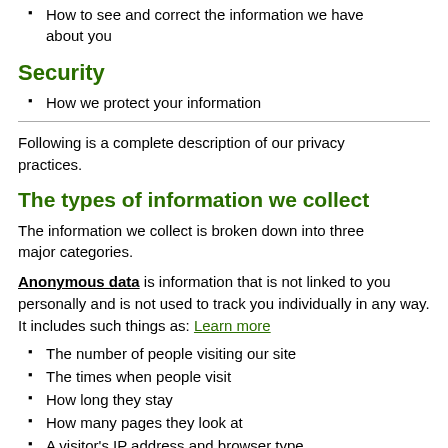How to see and correct the information we have about you
Security
How we protect your information
Following is a complete description of our privacy practices.
The types of information we collect
The information we collect is broken down into three major categories.
Anonymous data is information that is not linked to you personally and is not used to track you individually in any way. It includes such things as:
The number of people visiting our site
The times when people visit
How long they stay
How many pages they look at
A visitor's IP address and browser type
The URL a visitor was referred from